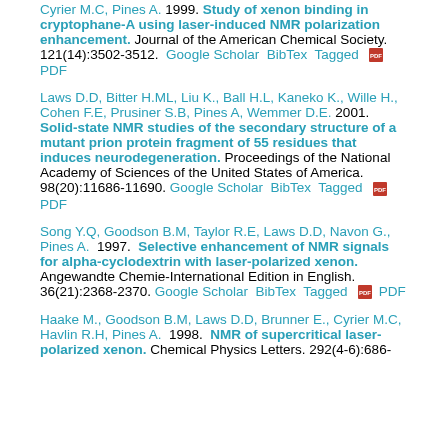Cyrier M.C, Pines A.  1999.  Study of xenon binding in cryptophane-A using laser-induced NMR polarization enhancement. Journal of the American Chemical Society. 121(14):3502-3512.  Google Scholar  BibTex  Tagged  [PDF]
Laws D.D, Bitter H.ML, Liu K., Ball H.L, Kaneko K., Wille H., Cohen F.E, Prusiner S.B, Pines A, Wemmer D.E.  2001.  Solid-state NMR studies of the secondary structure of a mutant prion protein fragment of 55 residues that induces neurodegeneration. Proceedings of the National Academy of Sciences of the United States of America. 98(20):11686-11690.  Google Scholar  BibTex  Tagged  [PDF]  PDF
Song Y.Q, Goodson B.M, Taylor R.E, Laws D.D, Navon G., Pines A.  1997.  Selective enhancement of NMR signals for alpha-cyclodextrin with laser-polarized xenon. Angewandte Chemie-International Edition in English. 36(21):2368-2370.  Google Scholar  BibTex  Tagged  [PDF]  PDF
Haake M., Goodson B.M, Laws D.D, Brunner E., Cyrier M.C, Havlin R.H, Pines A.  1998.  NMR of supercritical laser-polarized xenon. Chemical Physics Letters. 292(4-6):686-